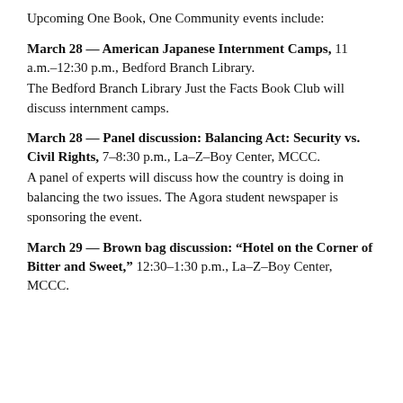Upcoming One Book, One Community events include:
March 28 — American Japanese Internment Camps, 11 a.m.–12:30 p.m., Bedford Branch Library.
The Bedford Branch Library Just the Facts Book Club will discuss internment camps.
March 28 — Panel discussion: Balancing Act: Security vs. Civil Rights, 7–8:30 p.m., La–Z–Boy Center, MCCC.
A panel of experts will discuss how the country is doing in balancing the two issues. The Agora student newspaper is sponsoring the event.
March 29 — Brown bag discussion: “Hotel on the Corner of Bitter and Sweet,” 12:30–1:30 p.m., La–Z–Boy Center, MCCC.